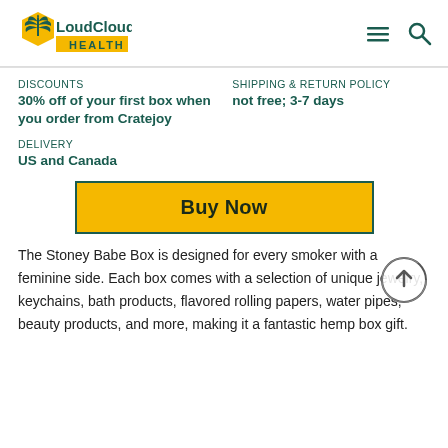LoudCloud HEALTH
DISCOUNTS
30% off of your first box when you order from Cratejoy
SHIPPING & RETURN POLICY
not free; 3-7 days
DELIVERY
US and Canada
[Figure (other): Buy Now button - yellow/orange button with dark green border]
The Stoney Babe Box is designed for every smoker with a feminine side. Each box comes with a selection of unique jewelry, keychains, bath products, flavored rolling papers, water pipes, beauty products, and more, making it a fantastic hemp box gift.